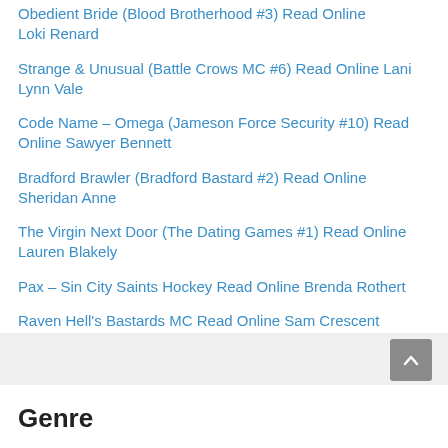Obedient Bride (Blood Brotherhood #3) Read Online Loki Renard
Strange & Unusual (Battle Crows MC #6) Read Online Lani Lynn Vale
Code Name – Omega (Jameson Force Security #10) Read Online Sawyer Bennett
Bradford Brawler (Bradford Bastard #2) Read Online Sheridan Anne
The Virgin Next Door (The Dating Games #1) Read Online Lauren Blakely
Pax – Sin City Saints Hockey Read Online Brenda Rothert
Raven Hell's Bastards MC Read Online Sam Crescent
Genre
Select Category